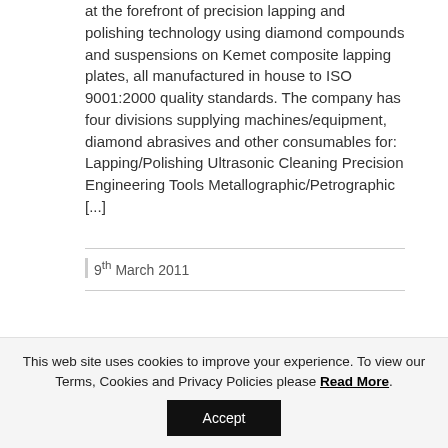at the forefront of precision lapping and polishing technology using diamond compounds and suspensions on Kemet composite lapping plates, all manufactured in house to ISO 9001:2000 quality standards. The company has four divisions supplying machines/equipment, diamond abrasives and other consumables for: Lapping/Polishing Ultrasonic Cleaning Precision Engineering Tools Metallographic/Petrographic [...]
9th March 2011
READ MORE
This web site uses cookies to improve your experience. To view our Terms, Cookies and Privacy Policies please Read More.
Accept